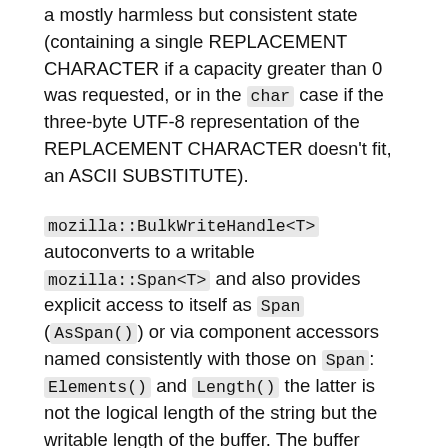a mostly harmless but consistent state (containing a single REPLACEMENT CHARACTER if a capacity greater than 0 was requested, or in the char case if the three-byte UTF-8 representation of the REPLACEMENT CHARACTER doesn't fit, an ASCII SUBSTITUTE).
mozilla::BulkWriteHandle<T> autoconverts to a writable mozilla::Span<T> and also provides explicit access to itself as Span (AsSpan()) or via component accessors named consistently with those on Span: Elements() and Length() the latter is not the logical length of the string but the writable length of the buffer. The buffer exposed via these methods includes the prefix that you may have requested to be preserved. It's up to you to skip past it so as to not overwrite it.
If there's a need to request a different capacity before you are ready to call Finish(), you can call